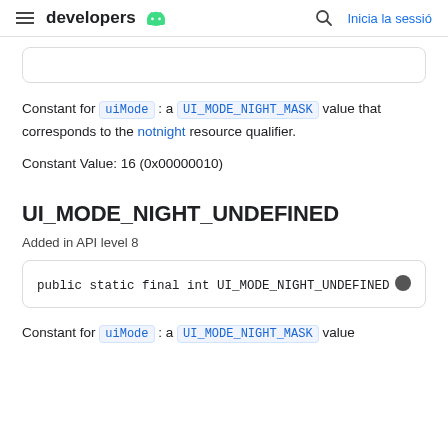≡ developers 🤖  🔍  Inicia la sessió
Constant for uiMode : a UI_MODE_NIGHT_MASK value that corresponds to the notnight resource qualifier.
Constant Value: 16 (0x00000010)
UI_MODE_NIGHT_UNDEFINED
Added in API level 8
public static final int UI_MODE_NIGHT_UNDEFINED
Constant for uiMode : a UI_MODE_NIGHT_MASK value